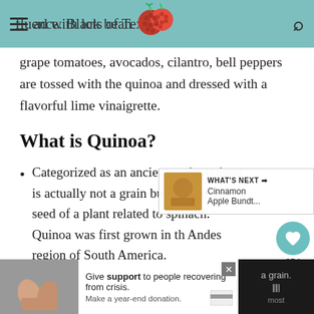ad with lots of Tex- fluence. Black bean
grape tomatoes, avocados, cilantro, bell peppers are tossed with the quinoa and dressed with a flavorful lime vinaigrette.
What is Quinoa?
Categorized as an ancient grain, quinoa is actually not a grain but instead the seed of a plant related to spinach. Quinoa was first grown in the Andes region of South America.
Pronounced Keen-Wah, it's the only f... plant origin that contains all nine essential amino
[Figure (screenshot): Bottom advertisement bar with 'Give support to people recovering from crisis. Make a year-end donation.' and a close button, alongside partial article content and right-side elements showing 354 hearts and share button, plus What's Next: Cinnamon Apple Bundt...]